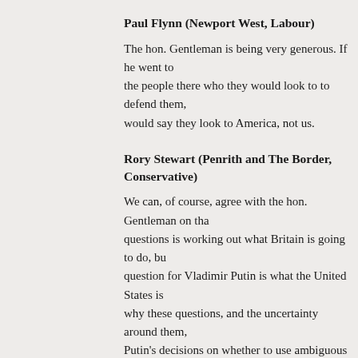Paul Flynn (Newport West, Labour)
The hon. Gentleman is being very generous. If he went to the people there who they would look to to defend them, they would say they look to America, not us.
Rory Stewart (Penrith and The Border, Conservative)
We can, of course, agree with the hon. Gentleman on that. questions is working out what Britain is going to do, but the question for Vladimir Putin is what the United States is— why these questions, and the uncertainty around them, Putin's decisions on whether to use ambiguous warfare or nuclear weapons will be guided by his perception of what Britain—are likely to do in response.
Julian Lewis (New Forest East, Conservative)